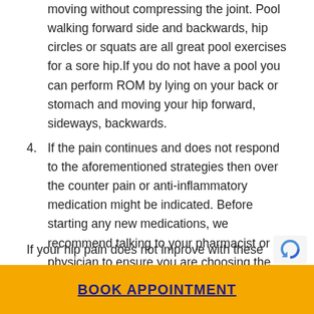moving without compressing the joint. Pool walking forward side and backwards, hip circles or squats are all great pool exercises for a sore hip.If you do not have a pool you can perform ROM by lying on your back or stomach and moving your hip forward, sideways, backwards.
4. If the pain continues and does not respond to the aforementioned strategies then over the counter pain or anti-inflammatory medication might be indicated. Before starting any new medications, we recommend talking to your pharmacist or physician to ensure you are choosing the right medication for your condition.
If your hip pain does not improve with these
BOOK APPOINTMENT